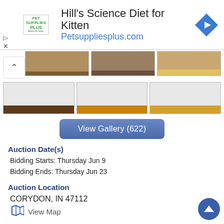[Figure (screenshot): Pet Supplies Plus advertisement banner for Hill's Science Diet for Kitten. Shows logo, headline text, URL and navigation arrow icon.]
[Figure (photo): Two rows of auction gallery thumbnail images showing various items. First row has three thumbnails visible partially (tops cropped), second row shows three full thumbnails with dark stripe at bottom.]
[Figure (other): Blue rounded rectangle button labeled 'View Gallery (622)']
Auction Date(s)
Bidding Starts: Thursday Jun 9
Bidding Ends: Thursday Jun 23
Auction Location
CORYDON, IN 47112
View Map
Company
Cowboy Auctions